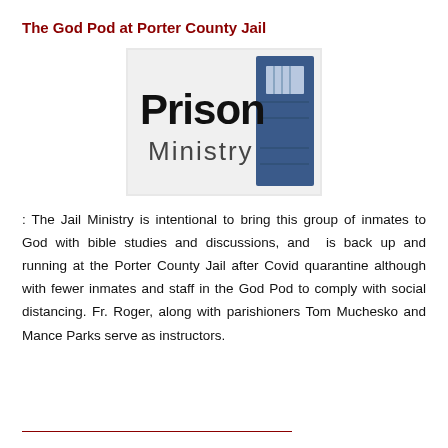The God Pod at Porter County Jail
[Figure (logo): Prison Ministry logo — bold black text 'Prison' beside a blue door illustration with 'Ministry' in smaller text below]
: The Jail Ministry is intentional to bring this group of inmates to God with bible studies and discussions, and is back up and running at the Porter County Jail after Covid quarantine although with fewer inmates and staff in the God Pod to comply with social distancing. Fr. Roger, along with parishioners Tom Muchesko and Mance Parks serve as instructors.